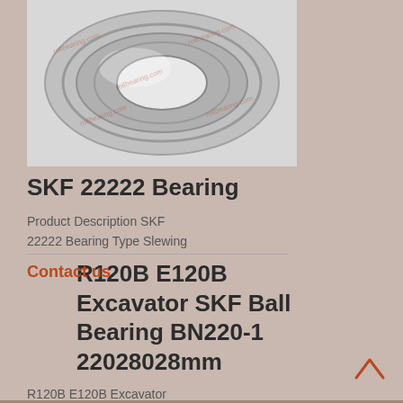[Figure (photo): Close-up photo of an SKF 22222 spherical roller bearing, showing polished metal rings with watermark text overlaid.]
SKF 22222 Bearing
Product Description SKF
22222 Bearing Type Slewing
Contact us
R120B E120B Excavator SKF Ball Bearing BN220-1 22028028mm
R120B E120B Excavator
Machine BN220-1 Excavator
Contact us